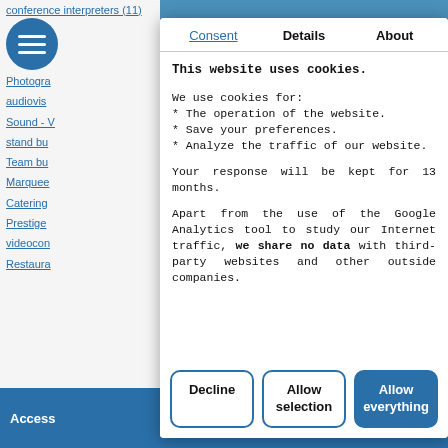[Figure (screenshot): Background website navigation with blue links and hamburger menu icon, partially obscured by cookie consent modal]
This website uses cookies.
We use cookies for:
* The operation of the website.
* Save your preferences.
* Analyze the traffic of our website.
Your response will be kept for 13 months.
Apart from the use of the Google Analytics tool to study our Internet traffic, we share no data with third-party websites and other outside companies.